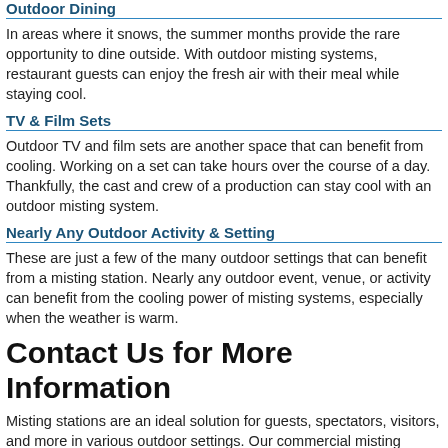Outdoor Dining
In areas where it snows, the summer months provide the rare opportunity to dine outside. With outdoor misting systems, restaurant guests can enjoy the fresh air with their meal while staying cool.
TV & Film Sets
Outdoor TV and film sets are another space that can benefit from cooling. Working on a set can take hours over the course of a day. Thankfully, the cast and crew of a production can stay cool with an outdoor misting system.
Nearly Any Outdoor Activity & Setting
These are just a few of the many outdoor settings that can benefit from a misting station. Nearly any outdoor event, venue, or activity can benefit from the cooling power of misting systems, especially when the weather is warm.
Contact Us for More Information
Misting stations are an ideal solution for guests, spectators, visitors, and more in various outdoor settings. Our commercial misting systems can provide these spaces with the cool air they